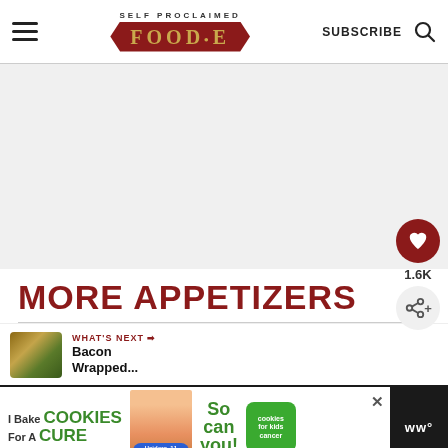SELF PROCLAIMED FOODIE — SUBSCRIBE
[Figure (other): Large blank/grey advertisement area in the middle of the page]
MORE APPETIZERS
[Figure (other): Heart/like button (red circle with heart icon) and share button (grey circle with share icon), with count 1.6K]
[Figure (other): WHAT'S NEXT arrow — Bacon Wrapped... with thumbnail photo]
[Figure (other): Advertisement banner: I Bake COOKIES For A CURE — Haidora, 11 Cancer Survivor — So can you! — cookies for kids cancer logo — close button]